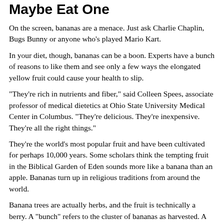Maybe Eat One
On the screen, bananas are a menace. Just ask Charlie Chaplin, Bugs Bunny or anyone who's played Mario Kart.
In your diet, though, bananas can be a boon. Experts have a bunch of reasons to like them and see only a few ways the elongated yellow fruit could cause your health to slip.
"They're rich in nutrients and fiber," said Colleen Spees, associate professor of medical dietetics at Ohio State University Medical Center in Columbus. "They're delicious. They're inexpensive. They're all the right things."
They're the world's most popular fruit and have been cultivated for perhaps 10,000 years. Some scholars think the tempting fruit in the Biblical Garden of Eden sounds more like a banana than an apple. Bananas turn up in religious traditions from around the world.
Banana trees are actually herbs, and the fruit is technically a berry. A "bunch" refers to the cluster of bananas as harvested. A small cluster of bananas is a "hand," and an individual banana is a "finger."
Whatever you call them, bananas are noted for being a good source of potassium, Spees said. According to the U.S. Department of